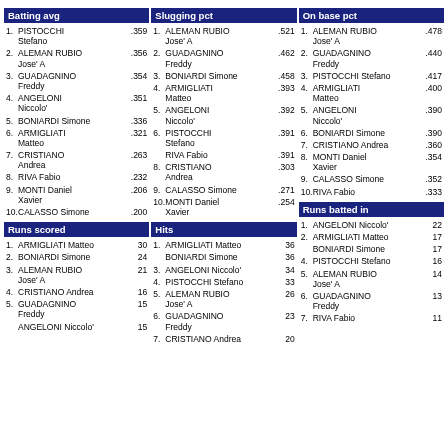Batting avg
1. PISTOCCHI Stefano .359
2. ALEMAN RUBIO Jose' A .356
3. GUADAGNINO Freddy .354
4. ANGELONI Niccolo' .351
5. BONIARDI Simone .336
6. ARMIGLIATI Matteo .321
7. CRISTIANO Andrea .263
8. RIVA Fabio .232
9. MONTI Daniel Xavier .206
10. CALASSO Simone .200
Slugging pct
1. ALEMAN RUBIO Jose' A .521
2. GUADAGNINO Freddy .462
3. BONIARDI Simone .458
4. ARMIGLIATI Matteo .393
5. ANGELONI Niccolo' .392
6. PISTOCCHI Stefano .391
RIVA Fabio .391
8. CRISTIANO Andrea .303
9. CALASSO Simone .271
10. MONTI Daniel Xavier .254
On base pct
1. ALEMAN RUBIO Jose' A .478
2. GUADAGNINO Freddy .440
3. PISTOCCHI Stefano .417
4. ARMIGLIATI Matteo .400
5. ANGELONI Niccolo' .390
6. BONIARDI Simone .390
7. CRISTIANO Andrea .360
8. MONTI Daniel Xavier .354
9. CALASSO Simone .352
10. RIVA Fabio .333
Runs scored
1. ARMIGLIATI Matteo 30
2. BONIARDI Simone 24
3. ALEMAN RUBIO Jose' A 21
4. CRISTIANO Andrea 16
5. GUADAGNINO Freddy 15
ANGELONI Niccolo' 15
Hits
1. ARMIGLIATI Matteo 36
BONIARDI Simone 36
3. ANGELONI Niccolo' 34
4. PISTOCCHI Stefano 33
5. ALEMAN RUBIO Jose' A 26
6. GUADAGNINO Freddy 23
7. CRISTIANO Andrea 20
Runs batted in
1. ANGELONI Niccolo' 22
2. ARMIGLIATI Matteo 17
BONIARDI Simone 17
4. PISTOCCHI Stefano 16
5. ALEMAN RUBIO Jose' A 14
6. GUADAGNINO Freddy 13
7. RIVA Fabio 11